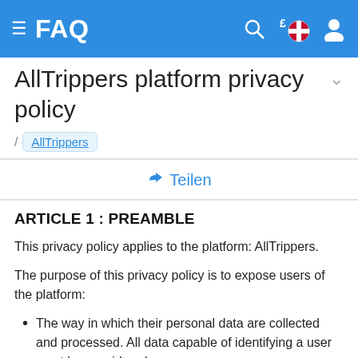FAQ
AllTrippers platform privacy policy
/ AllTrippers
Teilen
ARTICLE 1 : PREAMBLE
This privacy policy applies to the platform: AllTrippers.
The purpose of this privacy policy is to expose users of the platform:
The way in which their personal data are collected and processed. All data capable of identifying a user must be considered as